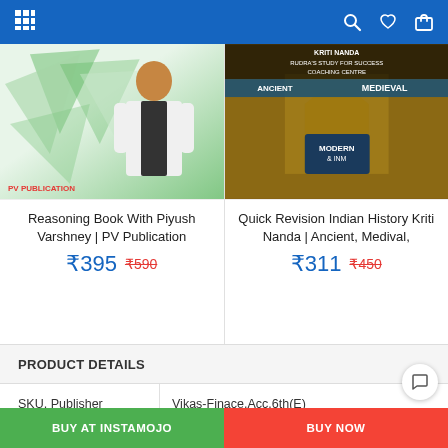Navigation bar with grid, search, wishlist, cart icons
[Figure (photo): Book cover/promotional image for Reasoning Book With Piyush Varshney PV Publication - man in white blazer with green geometric background]
Reasoning Book With Piyush Varshney | PV Publication
₹395  ₹590
[Figure (photo): Book cover for Quick Revision Indian History Kriti Nanda - Ancient Medieval Modern book with ornate gate image]
Quick Revision Indian History Kriti Nanda | Ancient, Medival,
₹311  ₹450
PRODUCT DETAILS
| SKU, Publisher | Vikas-Finace.Acc.6th(E) |
| --- | --- |
| Publisher | VIKAS Publication |
BUY AT INSTAMOJO
BUY NOW